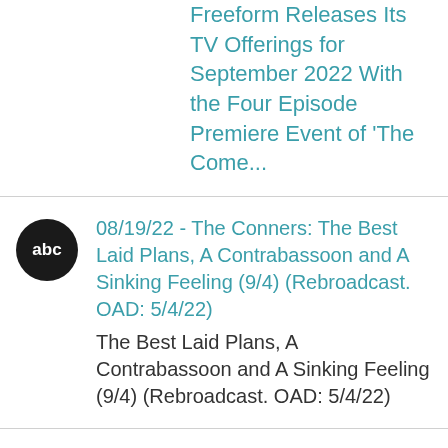Freeform Releases Its TV Offerings for September 2022 With the Four Episode Premiere Event of 'The Come...
08/19/22 - The Conners: The Best Laid Plans, A Contrabassoon and A Sinking Feeling (9/4) (Rebroadcast. OAD: 5/4/22)
The Best Laid Plans, A Contrabassoon and A Sinking Feeling (9/4) (Rebroadcast. OAD: 5/4/22)
08/19/22 - The $100,000 Pyramid: Mario Cantone vs Rachel Bloom and Lisa Ann Walter vs Janelle Jame